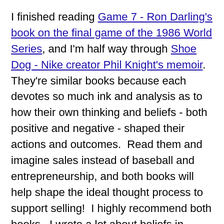I finished reading Game 7 - Ron Darling's book on the final game of the 1986 World Series, and I'm half way through Shoe Dog - Nike creator Phil Knight's memoir.  They're similar books because each devotes so much ink and analysis as to how their own thinking and beliefs - both positive and negative - shaped their actions and outcomes.  Read them and imagine sales instead of baseball and entrepreneurship, and both books will help shape the ideal thought process to support selling!  I highly recommend both books.  I wrote a lot about beliefs in selling in both Mindless Selling and my best-seller, Baseline Selling.  As a matter of fact, when Objective Management Group (OMG) measures this, only 45% of the sales population have 80% or more of the possible supportive sales beliefs and only 6% (elite territory) have better than 87% of the possible supportive